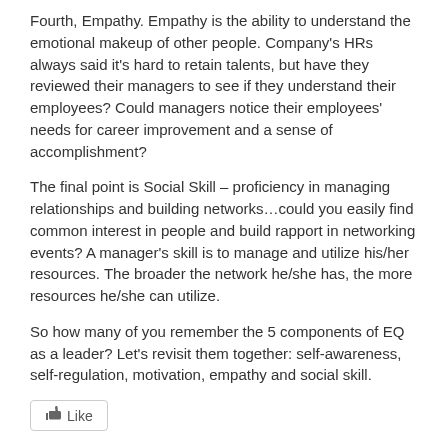Fourth, Empathy. Empathy is the ability to understand the emotional makeup of other people. Company's HRs always said it's hard to retain talents, but have they reviewed their managers to see if they understand their employees? Could managers notice their employees' needs for career improvement and a sense of accomplishment?
The final point is Social Skill – proficiency in managing relationships and building networks…could you easily find common interest in people and build rapport in networking events? A manager's skill is to manage and utilize his/her resources. The broader the network he/she has, the more resources he/she can utilize.
So how many of you remember the 5 components of EQ as a leader? Let's revisit them together: self-awareness, self-regulation, motivation, empathy and social skill.
[Figure (other): Like button widget with thumbs up icon]
Post Views: 166
[Figure (logo): LinkedIn circular pink/magenta logo icon]